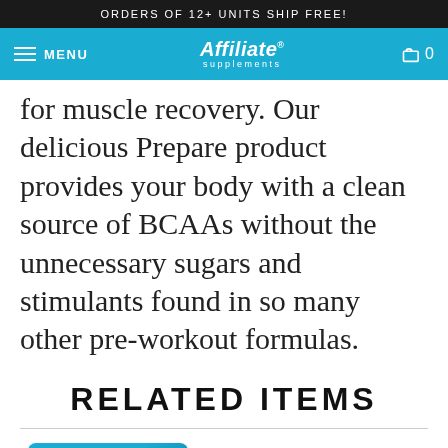ORDERS OF 12+ UNITS SHIP FREE!
MENU | Affiliate supplements | 0
for muscle recovery. Our delicious Prepare product provides your body with a clean source of BCAAs without the unnecessary sugars and stimulants found in so many other pre-workout formulas.
RELATED ITEMS
[Figure (photo): Partial product thumbnail image at bottom of page, blue colored product]